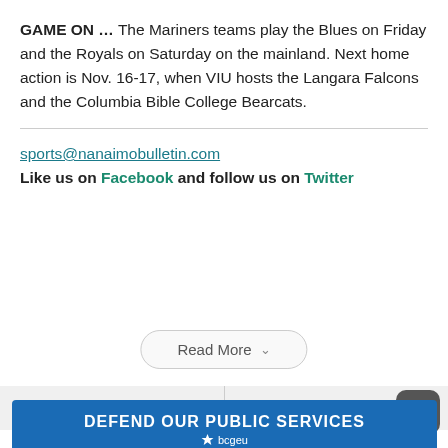GAME ON … The Mariners teams play the Blues on Friday and the Royals on Saturday on the mainland. Next home action is Nov. 16-17, when VIU hosts the Langara Falcons and the Columbia Bible College Bearcats.
sports@nanaimobulletin.com
Like us on Facebook and follow us on Twitter
Read More
DEFEND OUR PUBLIC SERVICES bcgeu